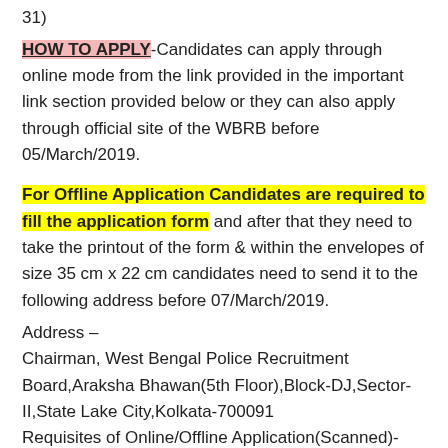31)
HOW TO APPLY-Candidates can apply through online mode from the link provided in the important link section provided below or they can also apply through official site of the WBRB before 05/March/2019.
For Offline Application Candidates are required to fill the application form and after that they need to take the printout of the form & within the envelopes of size 35 cm x 22 cm candidates need to send it to the following address before 07/March/2019.
Address –
Chairman, West Bengal Police Recruitment Board,Araksha Bhawan(5th Floor),Block-DJ,Sector-II,State Lake City,Kolkata-700091
Requisites of Online/Offline Application(Scanned)-Photograph